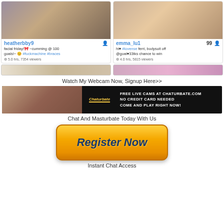[Figure (screenshot): Two webcam performer cards: heatherbby9 and emma_lu1 with thumbnails, descriptions, and viewer counts]
[Figure (screenshot): Partial row of two more webcam thumbnails below the main cards]
Watch My Webcam Now, Signup Here>>
[Figure (photo): Chaturbate banner ad: FREE LIVE CAMS AT CHATURBATE.COM NO CREDIT CARD NEEDED COME AND PLAY RIGHT NOW!]
Chat And Masturbate Today With Us
[Figure (illustration): Orange Register Now button]
Instant Chat Access